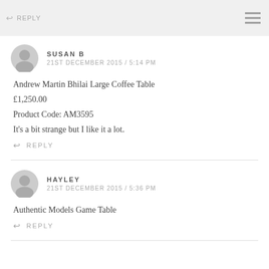REPLY
SUSAN B
21ST DECEMBER 2015 / 5:14 PM
Andrew Martin Bhilai Large Coffee Table
£1,250.00
Product Code: AM3595
It’s a bit strange but I like it a lot.
REPLY
HAYLEY
21ST DECEMBER 2015 / 5:36 PM
Authentic Models Game Table
REPLY